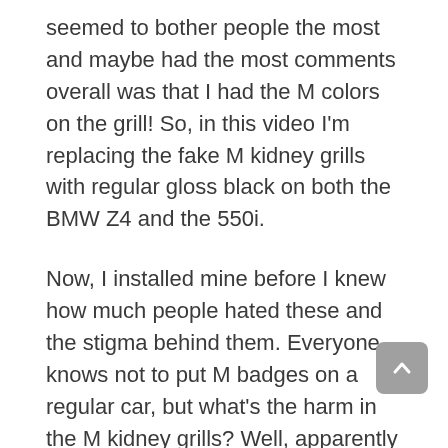seemed to bother people the most and maybe had the most comments overall was that I had the M colors on the grill! So, in this video I'm replacing the fake M kidney grills with regular gloss black on both the BMW Z4 and the 550i.
Now, I installed mine before I knew how much people hated these and the stigma behind them. Everyone knows not to put M badges on a regular car, but what's the harm in the M kidney grills? Well, apparently a lot as you cannot go on a forum or video without people complaining and hating on cars! So, for your pleasure and mine, let's get these new shiny black ONLY grills installed and make the world a better place!
Do you agree with the general opinion? Leave a